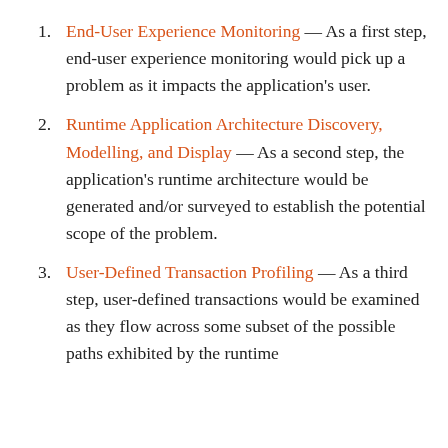End-User Experience Monitoring — As a first step, end-user experience monitoring would pick up a problem as it impacts the application's user.
Runtime Application Architecture Discovery, Modelling, and Display — As a second step, the application's runtime architecture would be generated and/or surveyed to establish the potential scope of the problem.
User-Defined Transaction Profiling — As a third step, user-defined transactions would be examined as they flow across some subset of the possible paths exhibited by the runtime